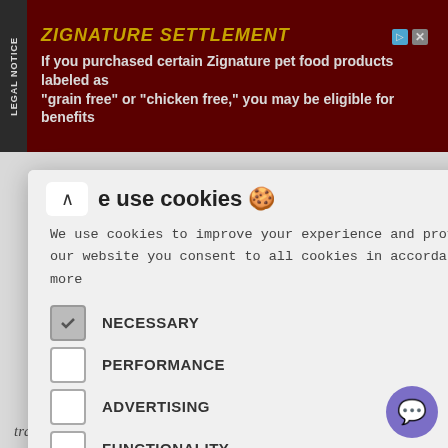[Figure (screenshot): Ad banner for Zignature Settlement legal notice with dark red background and yellow title text]
tial
one) to rule
cussed with a
[Figure (screenshot): Cookie consent modal overlay with title 'e use cookies', description text, checkboxes for NECESSARY (checked), PERFORMANCE, ADVERTISING, FUNCTIONALITY, OTHER, and ACCEPT ALL button]
or others
e.g.
transdermal patch or syringe driver).